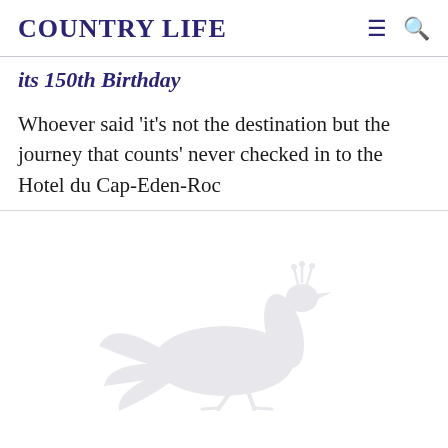COUNTRY LIFE
its 150th Birthday
Whoever said 'it's not the destination but the journey that counts' never checked in to the Hotel du Cap-Eden-Roc
[Figure (illustration): Light gray silhouette of a peacock]